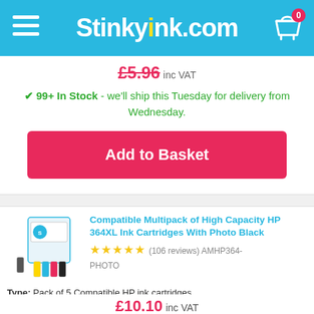Stinkyink.com
£5.96 inc VAT
✔ 99+ In Stock - we'll ship this Tuesday for delivery from Wednesday.
Add to Basket
[Figure (photo): Product image of HP 364XL compatible ink cartridges multipack with photo black, showing box and individual cartridges]
Compatible Multipack of High Capacity HP 364XL Ink Cartridges With Photo Black
★★★★★ (106 reviews) AMHP364-PHOTO
Type: Pack of 5 Compatible HP ink cartridges
£10.10 inc VAT